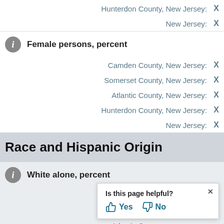Hunterdon County, New Jersey: X
New Jersey: X
Female persons, percent
Camden County, New Jersey: X
Somerset County, New Jersey: X
Atlantic County, New Jersey: X
Hunterdon County, New Jersey: X
New Jersey: X
Race and Hispanic Origin
White alone, percent
Camden County, New Jersey: X
Somerset County, New Jersey: X
Atlantic County, New Jersey: X
[Figure (screenshot): Popup dialog asking 'Is this page helpful?' with Yes and No buttons with thumb icons, and an X close button]